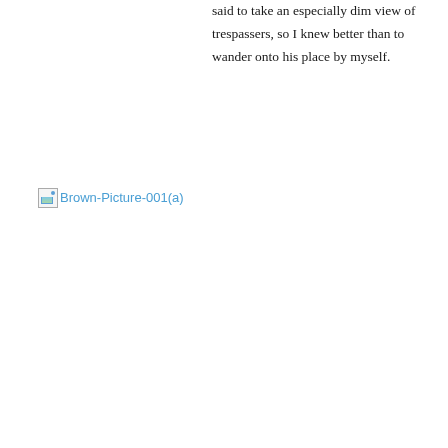said to take an especially dim view of trespassers, so I knew better than to wander onto his place by myself.
[Figure (photo): Broken image placeholder labeled Brown-Picture-001(a)]